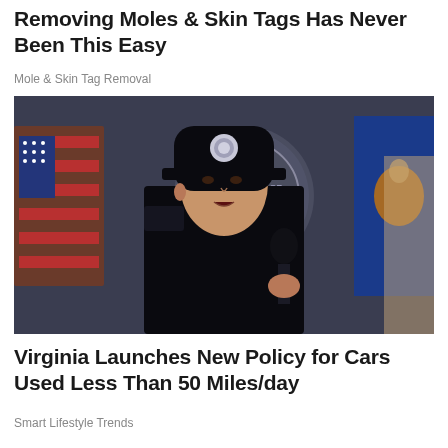Removing Moles & Skin Tags Has Never Been This Easy
Mole & Skin Tag Removal
[Figure (photo): A man wearing a black police uniform and officer cap holds a microphone at what appears to be an official press conference. In the background are an American flag and a blue flag with an eagle emblem, along with an official government seal backdrop.]
Virginia Launches New Policy for Cars Used Less Than 50 Miles/day
Smart Lifestyle Trends